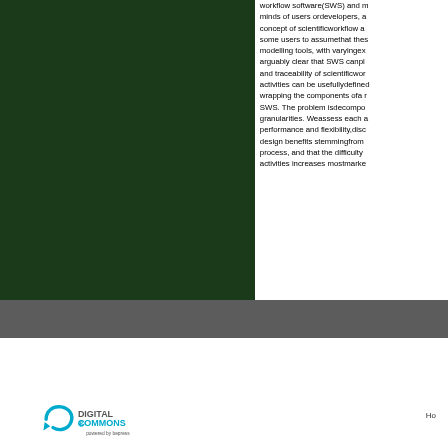[Figure (photo): Dark green / black image block occupying the left column of the page]
workflow software(SWS) and m minds of users ordevelopers, a concept of scientificworkflow a some users to assumethat thes modelling tools, with varyingex arguably clear that SWS canpl and traceability of scientificwor activities can be usefullydefine wrapping the components ofa r SWS. The problem isdecompo granularities. Weassess each a performance and flexibility,disc design benefits stemmingfrom process, and that the difficulty activities increases mostmarke
[Figure (logo): Digital Commons powered by bepress logo]
Ho